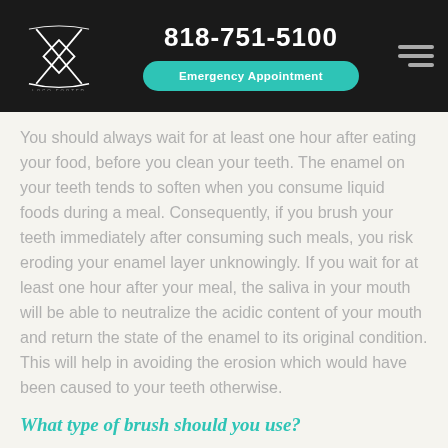818-751-5100 | Emergency Appointment
You should always wait for at least one hour after eating your food, before you clean your teeth. The enamel on your teeth tends to soften when you consume liquid foods during a meal. Consequently, if you brush your teeth immediately after consuming such meals, you risk eroding your enamel layer unknowingly. If you wait for at least one hour after your meal, the saliva in your mouth will be able to neutralize the acidic content of your mouth and return the state of the enamel to its original condition. This will help in avoiding the erosion which would have been caused to your teeth otherwise.
What type of brush should you use?
Use a brush with soft bristles because stiff bristles can